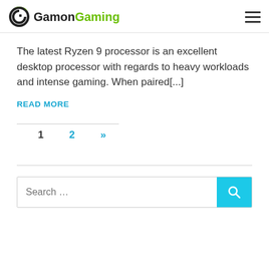Gamon Gaming
The latest Ryzen 9 processor is an excellent desktop processor with regards to heavy workloads and intense gaming. When paired[...]
READ MORE
1  2  »